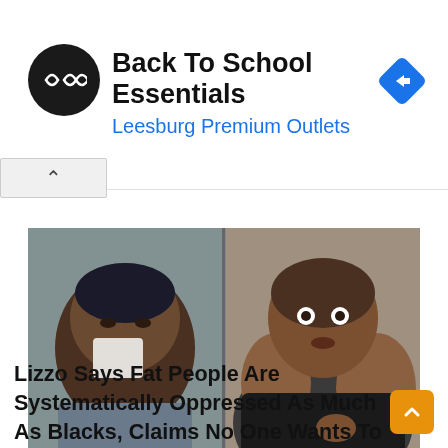[Figure (screenshot): Advertisement banner for 'Back To School Essentials' at Leesburg Premium Outlets with logo and navigation icon]
[Figure (photo): Side-by-side photos: left shows a person crying/wiping face with tissue in bathroom, right shows a person in black tube top looking surprised]
Lizzo Says Fat People Are Systematically Oppressed As Much As Blacks, Claims No One Wants To Be Black or Fat